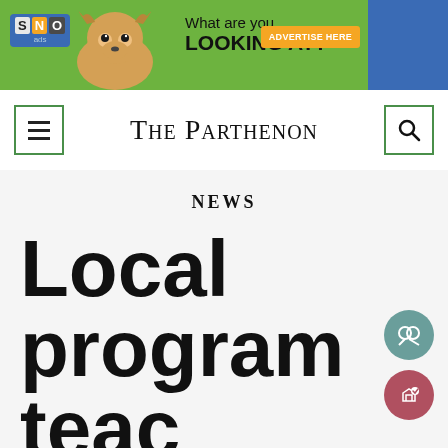[Figure (infographic): SNO ads banner advertisement with chihuahua dog, text 'What are you LOOKING AT?' and orange 'ADVERTISE HERE' button on green background]
THE PARTHENON
NEWS
Local program teac...